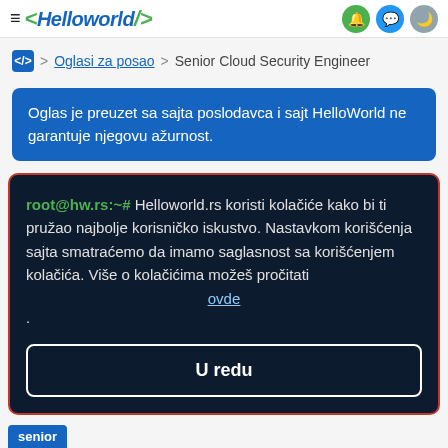≡ <HelloWorld> [icons]
> Oglasi za posao > Senior Cloud Security Engineer
Oglas je preuzet sa sajta poslodavca i sajt HelloWorld ne garantuje njegovu ažurnost.
root@hw.rs:~# Helloworld.rs koristi kolačiće kako bi ti pružao najbolje korisničko iskustvo. Nastavkom korišćenja sajta smatraćemo da imamo saglasnost sa korišćenjem kolačića. Više o kolačićima možeš pročitati ovde .
U redu
senior